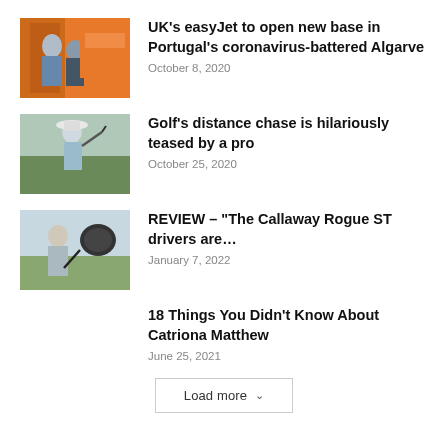[Figure (photo): Person in orange easyJet aircraft doorway wearing mask]
UK's easyJet to open new base in Portugal's coronavirus-battered Algarve
October 8, 2020
[Figure (photo): Golfer in white hat mid-swing]
Golf's distance chase is hilariously teased by a pro
October 25, 2020
[Figure (photo): Man holding Callaway Rogue ST driver on golf course]
REVIEW – “The Callaway Rogue ST drivers are…
January 7, 2022
18 Things You Didn’t Know About Catriona Matthew
June 25, 2021
Load more